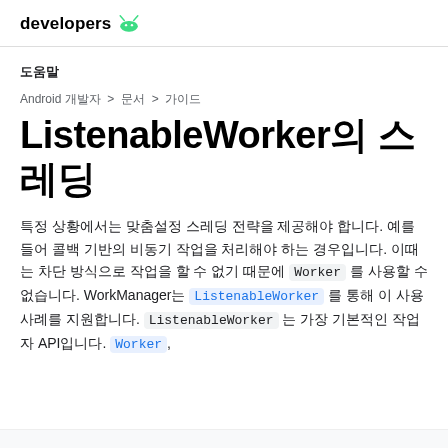developers [Android logo]
도움말
Android 개발자 > 문서 > 가이드
ListenableWorker의 스레딩
특정 상황에서는 맞춤설정 스레딩 전략을 제공해야 합니다. 예를 들어 콜백 기반의 비동기 작업을 처리해야 하는 경우입니다. 이때는 차단 방식으로 작업을 할 수 없기 때문에 Worker 를 사용할 수 없습니다. WorkManager는 ListenableWorker 를 통해 이 사용 사례를 지원합니다. ListenableWorker 는 가장 기본적인 작업자 API입니다. Worker,